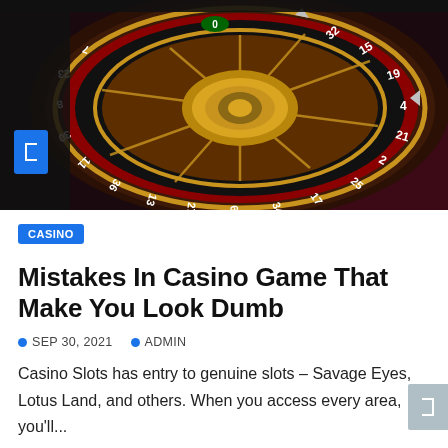[Figure (photo): Close-up photograph of a roulette wheel showing red and black numbered slots with gold accents on a dark background]
CASINO
Mistakes In Casino Game That Make You Look Dumb
SEP 30, 2021   ADMIN
Casino Slots has entry to genuine slots – Savage Eyes, Lotus Land, and others. When you access every area, you'll...